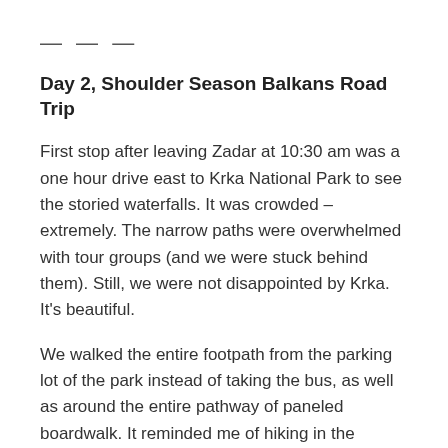---
Day 2, Shoulder Season Balkans Road Trip
First stop after leaving Zadar at 10:30 am was a one hour drive east to Krka National Park to see the storied waterfalls. It was crowded – extremely. The narrow paths were overwhelmed with tour groups (and we were stuck behind them). Still, we were not disappointed by Krka. It's beautiful.
We walked the entire footpath from the parking lot of the park instead of taking the bus, as well as around the entire pathway of paneled boardwalk. It reminded me of hiking in the